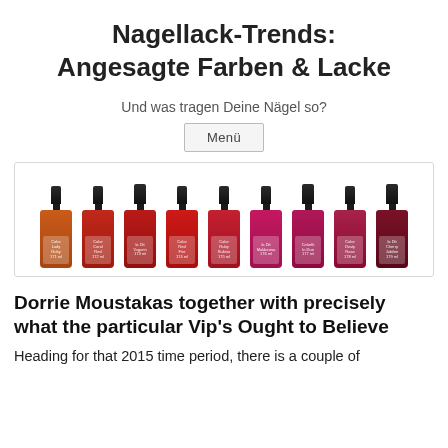Nagellack-Trends: Angesagte Farben & Lacke
Und was tragen Deine Nägel so?
Menü
[Figure (photo): Nine nail polish bottles in shades of orange, red, pink, and dark red/burgundy arranged in a row against a white background inside a bordered box.]
Dorrie Moustakas together with precisely what the particular Vip's Ought to Believe
Heading for that 2015 time period, there is a couple of